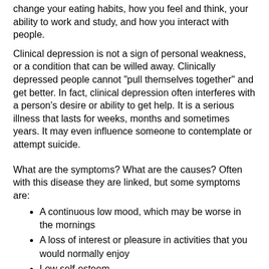change your eating habits, how you feel and think, your ability to work and study, and how you interact with people.
Clinical depression is not a sign of personal weakness, or a condition that can be willed away. Clinically depressed people cannot "pull themselves together" and get better. In fact, clinical depression often interferes with a person's desire or ability to get help. It is a serious illness that lasts for weeks, months and sometimes years. It may even influence someone to contemplate or attempt suicide.
What are the symptoms? What are the causes? Often with this disease they are linked, but some symptoms are:
A continuous low mood, which may be worse in the mornings
A loss of interest or pleasure in activities that you would normally enjoy
Low self-esteem
A feeling of isolation or friendlessness
Feeling fearful
Feeling helpless or hopeless
Feeling guilty